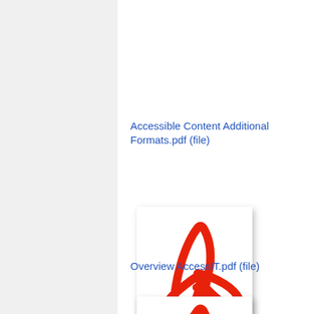Accessible Content Additional Formats.pdf (file)
[Figure (illustration): Adobe Acrobat PDF file icon - red triangular logo on white background with shadow]
Overview AccessIT.pdf (file)
[Figure (illustration): Adobe Acrobat PDF file icon - red triangular logo on white background with shadow]